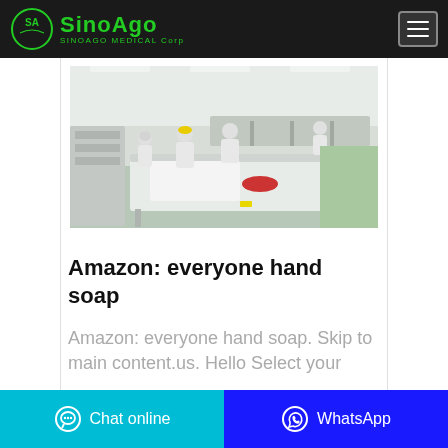SinoAgo MEDICAL Corp
[Figure (photo): Factory workers in protective white suits and masks working at a medical/pharmaceutical manufacturing facility with stainless steel equipment and clean room environment.]
Amazon: everyone hand soap
Amazon: everyone hand soap. Skip to main content.us. Hello Select your
Chat online | WhatsApp